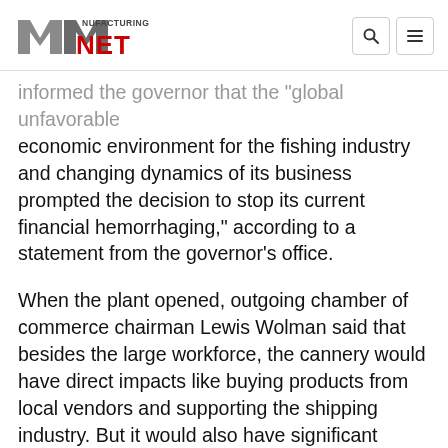Manufacturing NET
informed the governor that the "global unfavorable economic environment for the fishing industry and changing dynamics of its business prompted the decision to stop its current financial hemorrhaging," according to a statement from the governor's office.
When the plant opened, outgoing chamber of commerce chairman Lewis Wolman said that besides the large workforce, the cannery would have direct impacts like buying products from local vendors and supporting the shipping industry. But it would also have significant indirect impacts, such as the purchases made by workers from their paychecks.